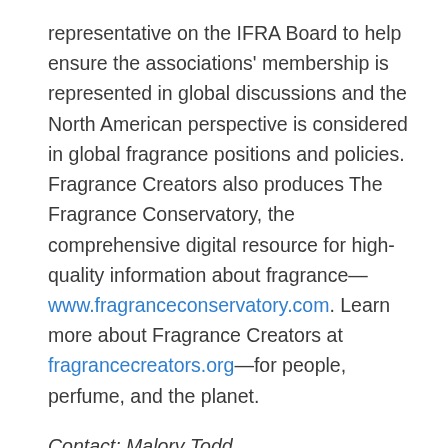representative on the IFRA Board to help ensure the associations' membership is represented in global discussions and the North American perspective is considered in global fragrance positions and policies. Fragrance Creators also produces The Fragrance Conservatory, the comprehensive digital resource for high-quality information about fragrance—www.fragranceconservatory.com. Learn more about Fragrance Creators at fragrancecreators.org—for people, perfume, and the planet.
Contact: Malory Todd
mtodd@fragrancecreators.org